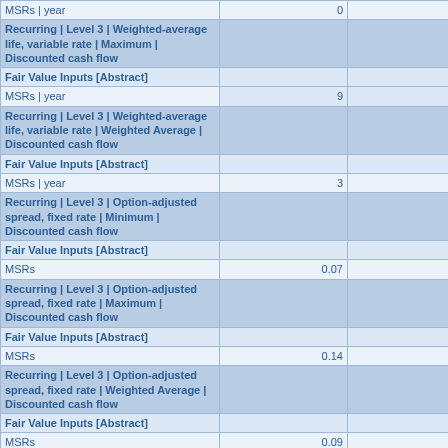|  |  |  |
| --- | --- | --- |
| MSRs | year | 0 | 0 |
| Recurring | Level 3 | Weighted-average life, variable rate | Maximum | Discounted cash flow |  |  |
| Fair Value Inputs [Abstract] |  |  |
| MSRs | year | 9 | 10 |
| Recurring | Level 3 | Weighted-average life, variable rate | Weighted Average | Discounted cash flow |  |  |
| Fair Value Inputs [Abstract] |  |  |
| MSRs | year | 3 | 3 |
| Recurring | Level 3 | Option-adjusted spread, fixed rate | Minimum | Discounted cash flow |  |  |
| Fair Value Inputs [Abstract] |  |  |
| MSRs | 0.07 | 0.07 |
| Recurring | Level 3 | Option-adjusted spread, fixed rate | Maximum | Discounted cash flow |  |  |
| Fair Value Inputs [Abstract] |  |  |
| MSRs | 0.14 | 0.14 |
| Recurring | Level 3 | Option-adjusted spread, fixed rate | Weighted Average | Discounted cash flow |  |  |
| Fair Value Inputs [Abstract] |  |  |
| MSRs | 0.09 | 0.09 |
| Recurring | Level 3 | Option-adjusted spread, variable rate | Minimum | Discounted cash flow |  |  |
| Fair Value Inputs [Abstract] |  |  |
| MSRs | 0.09 | 0.09 |